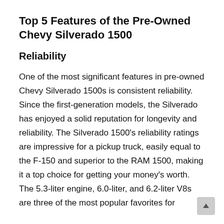Top 5 Features of the Pre-Owned Chevy Silverado 1500
Reliability
One of the most significant features in pre-owned Chevy Silverado 1500s is consistent reliability. Since the first-generation models, the Silverado has enjoyed a solid reputation for longevity and reliability. The Silverado 1500's reliability ratings are impressive for a pickup truck, easily equal to the F-150 and superior to the RAM 1500, making it a top choice for getting your money's worth. The 5.3-liter engine, 6.0-liter, and 6.2-liter V8s are three of the most popular favorites for